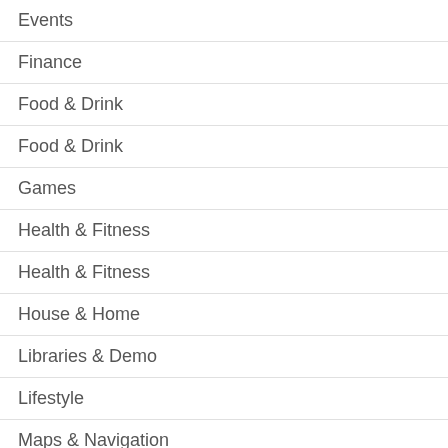Events
Finance
Food & Drink
Food & Drink
Games
Health & Fitness
Health & Fitness
House & Home
Libraries & Demo
Lifestyle
Maps & Navigation
Maps & Navigation
Medical